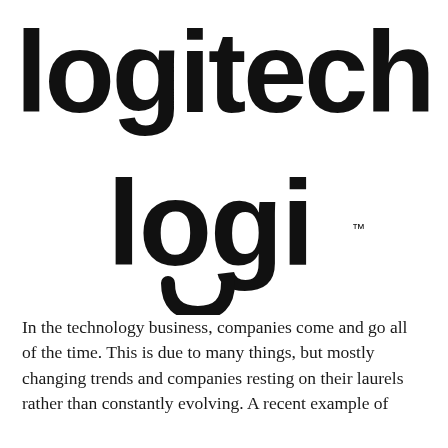[Figure (logo): Logitech logo in large bold black sans-serif lettering, partially cropped at top]
[Figure (logo): Logi sub-brand logo in large bold black sans-serif lettering with TM mark]
In the technology business, companies come and go all of the time. This is due to many things, but mostly changing trends and companies resting on their laurels rather than constantly evolving. A recent example of